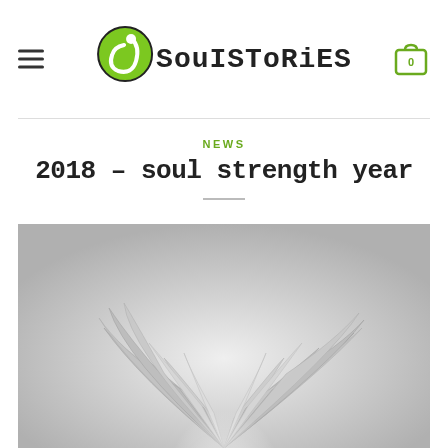SoulStories
NEWS
2018 – soul strength year
[Figure (photo): Black and white photograph of bird wings spread upward, feathers fanned out artistically against a light gray background]